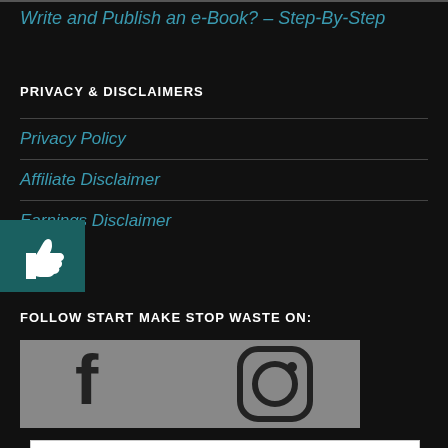Write and Publish an e-Book? – Step-By-Step
PRIVACY & DISCLAIMERS
Privacy Policy
Affiliate Disclaimer
Earnings Disclaimer
[Figure (other): Thumbs up icon widget in teal/dark green box]
FOLLOW START MAKE STOP WASTE ON:
[Figure (other): Social media bar with Facebook and Instagram icons on grey background]
[Figure (logo): Orange website logo with orange fruit image and 'orangewebsite' text]